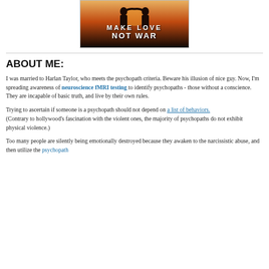[Figure (photo): Banner image with silhouette of couple forming heart shape with arms against sunset sky, with text 'MAKE LOVE NOT WAR' in military-style stencil font]
ABOUT ME:
I was married to Harlan Taylor, who meets the psychopath criteria. Beware his illusion of nice guy. Now, I'm spreading awareness of neuroscience fMRI testing to identify psychopaths - those without a conscience. They are incapable of basic truth, and live by their own rules.
Trying to ascertain if someone is a psychopath should not depend on a list of behaviors. (Contrary to hollywood's fascination with the violent ones, the majority of psychopaths do not exhibit physical violence.)
Too many people are silently being emotionally destroyed because they awaken to the narcissistic abuse, and then utilize the psychopath